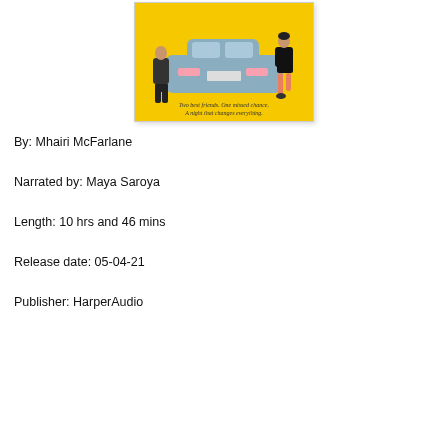[Figure (illustration): Book cover illustration on yellow background showing two figures leaning against a blue car seen from behind. Text reads: 'Two best friends. One missed chance. A night that changes everything.']
By: Mhairi McFarlane
Narrated by: Maya Saroya
Length: 10 hrs and 46 mins
Release date: 05-04-21
Publisher: HarperAudio